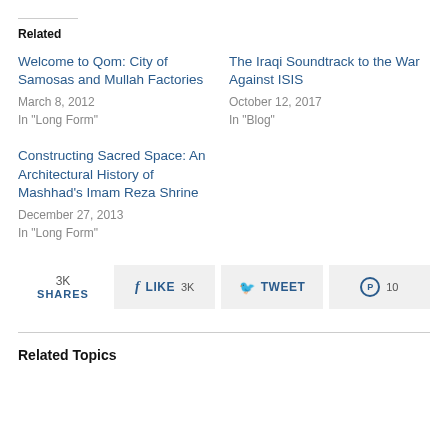Related
Welcome to Qom: City of Samosas and Mullah Factories
March 8, 2012
In "Long Form"
The Iraqi Soundtrack to the War Against ISIS
October 12, 2017
In "Blog"
Constructing Sacred Space: An Architectural History of Mashhad's Imam Reza Shrine
December 27, 2013
In "Long Form"
3K SHARES   LIKE 3K   TWEET   10
Related Topics